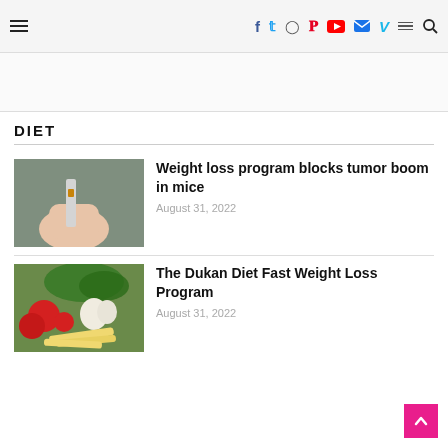Social icons navigation bar with hamburger menu, Facebook, Twitter, Instagram, Pinterest, YouTube, Mail, Vimeo, Menu, Search
[Figure (other): Advertisement/banner space area]
DIET
[Figure (photo): Hand holding a small medical test strip or device]
Weight loss program blocks tumor boom in mice
August 31, 2022
[Figure (photo): Vegetables and pasta: tomatoes, garlic, fresh greens, and penne pasta]
The Dukan Diet Fast Weight Loss Program
August 31, 2022